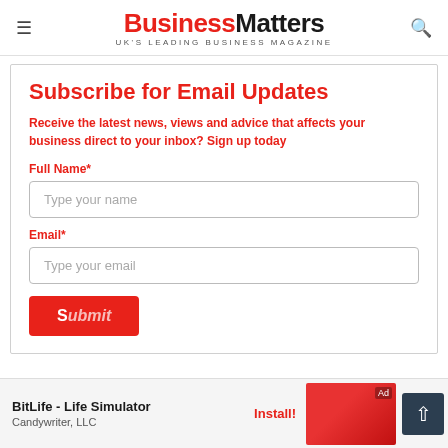BusinessMatters — UK'S LEADING BUSINESS MAGAZINE
Subscribe for Email Updates
Receive the latest news, views and advice that affects your business direct to your inbox? Sign up today
Full Name*
Type your name
Email*
Type your email
Submit
[Figure (screenshot): BitLife - Life Simulator ad banner by Candywriter, LLC with Install button and game screenshot]
BitLife - Life Simulator
Candywriter, LLC
Install!
Ad